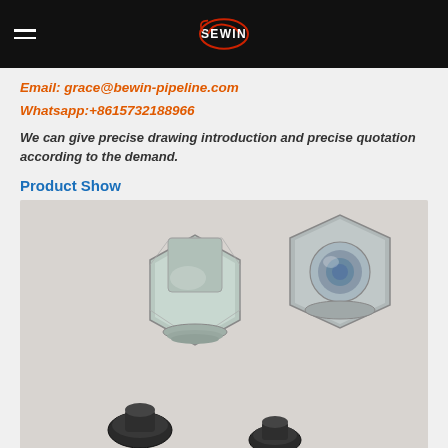SEWIN logo and navigation
Email: grace@bewin-pipeline.com
Whatsapp:+8615732188966
We can give precise drawing introduction and precise quotation according to the demand.
Product Show
[Figure (photo): Two zinc-plated steel hex cap nuts shown from different angles (top view and side view with open bore), and two black rubber ferrule/insert pieces below.]